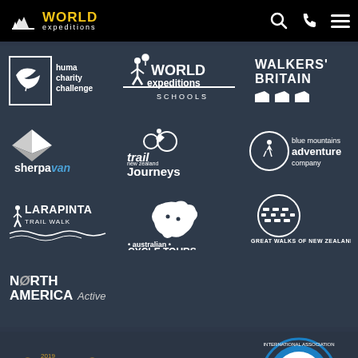[Figure (logo): World Expeditions navigation bar with logo, search icon, phone icon, and hamburger menu on black background]
[Figure (logo): Huma Charity Challenge logo - white bird/dove icon with text]
[Figure (logo): World Expeditions Schools logo]
[Figure (logo): Walkers Britain logo with boot icons]
[Figure (logo): Sherpa Van logo]
[Figure (logo): Trail Journeys New Zealand logo with cyclist]
[Figure (logo): Blue Mountains Adventure Company logo with circular emblem]
[Figure (logo): Larapinta Trail Walk logo]
[Figure (logo): Australian Cycle Tours logo]
[Figure (logo): Great Walks of New Zealand logo with boot print]
[Figure (logo): North America Active logo]
[Figure (logo): 2019 Winner Adventure Travel Wholesaler of the Year award badge with laurel wreath]
[Figure (logo): ATAS travel accredited logo]
[Figure (logo): IAATO International Association of Antarctica Tour Operators logo]
Ask an Expert